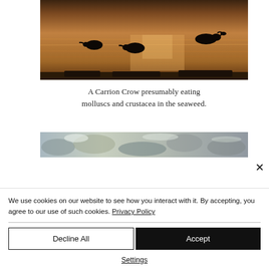[Figure (photo): Three dark bird silhouettes (ducks/waterfowl) floating on shimmering water with warm orange-brown sunset reflections]
A Carrion Crow presumably eating molluscs and crustacea in the seaweed.
[Figure (photo): Partially visible photo showing seaweed/shoreline scene, cut off by cookie banner overlay]
We use cookies on our website to see how you interact with it. By accepting, you agree to our use of such cookies. Privacy Policy
Decline All
Accept
Settings